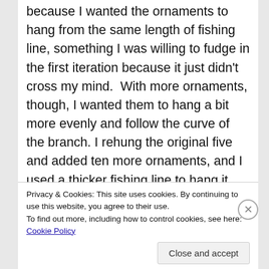because I wanted the ornaments to hang from the same length of fishing line, something I was willing to fudge in the first iteration because it just didn't cross my mind.  With more ornaments, though, I wanted them to hang a bit more evenly and follow the curve of the branch. I rehung the original five and added ten more ornaments, and I used a thicker fishing line to hang it from the ceiling.  This was the undoing of iteration two.  As soon as I'd hung the branch from the first two hooks, I let go to reposition my step ladder, and the knot holding one of those two hooks came undone.  The branch swung and  must have lifted itself off of it's hook
Privacy & Cookies: This site uses cookies. By continuing to use this website, you agree to their use.
To find out more, including how to control cookies, see here: Cookie Policy
Close and accept